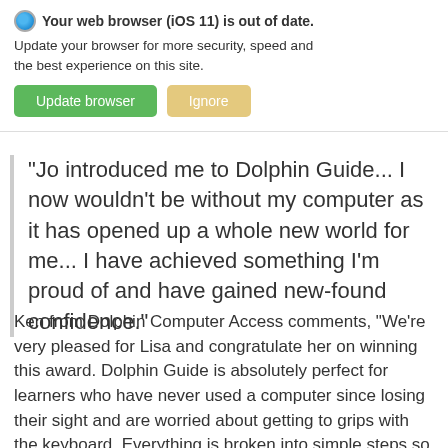[Figure (screenshot): Browser update notification banner overlay showing 'Your web browser (iOS 11) is out of date. Update your browser for more security, speed and the best experience on this site.' with green 'Update browser' button and tan 'Ignore' button.]
"Jo introduced me to Dolphin Guide... I now wouldn't be without my computer as it has opened up a whole new world for me... I have achieved something I'm proud of and have gained new-found confidence."
Ken from Dolphin Computer Access comments, "We're very pleased for Lisa and congratulate her on winning this award. Dolphin Guide is absolutely perfect for learners who have never used a computer since losing their sight and are worried about getting to grips with the keyboard. Everything is broken into simple steps so it is really easy to use compared with other screen reading software".